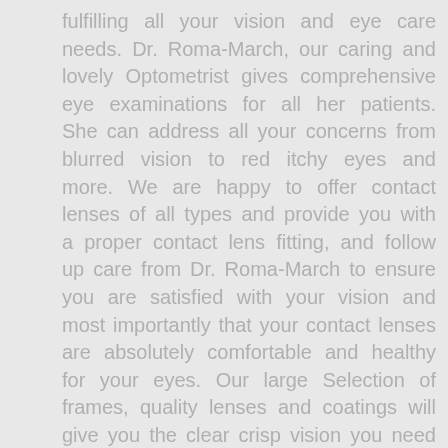fulfilling all your vision and eye care needs. Dr. Roma-March, our caring and lovely Optometrist gives comprehensive eye examinations for all her patients. She can address all your concerns from blurred vision to red itchy eyes and more. We are happy to offer contact lenses of all types and provide you with a proper contact lens fitting, and follow up care from Dr. Roma-March to ensure you are satisfied with your vision and most importantly that your contact lenses are absolutely comfortable and healthy for your eyes. Our large Selection of frames, quality lenses and coatings will give you the clear crisp vision you need in the style you want. Our experienced Optician, Derrick is meticulous and will make sure all the necessary eyeglass measurements are exact, and that all your questions are answered to your satisfaction.